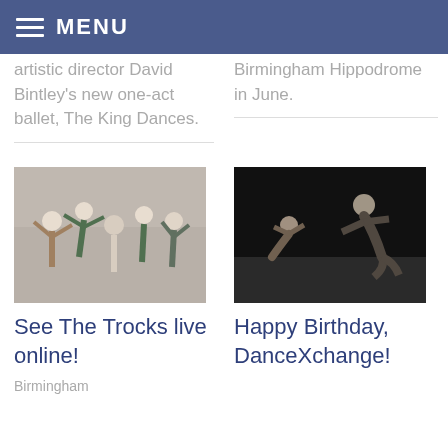MENU
artistic director David Bintley's new one-act ballet, The King Dances.
Birmingham Hippodrome in June.
[Figure (photo): Group of dancers in costumes on a grey background, performing various poses]
[Figure (photo): Two dancers in dark clothing on a black stage, kneeling and bending]
See The Trocks live online!
Happy Birthday, DanceXchange!
Birmingham